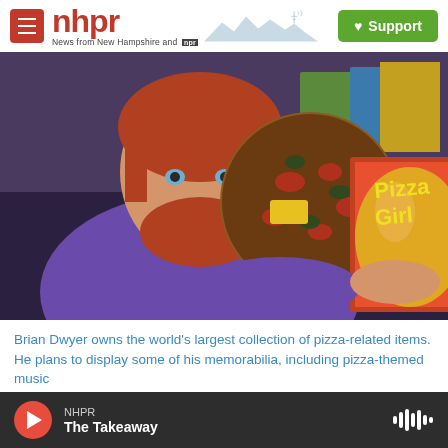nhpr - News from New Hampshire and NPR | Support
[Figure (photo): A red-haired man with a beard wearing a purple shirt holds up a vinyl record shaped like a pizza and a record album cover reading 'Pizza Girl'. He is surrounded by various items in storage containers.]
Brian Dwyer owns the world's largest collection of pizza-related items. He plans to display some of his memorabilia, including pizza-themed music
NHPR | The Takeaway